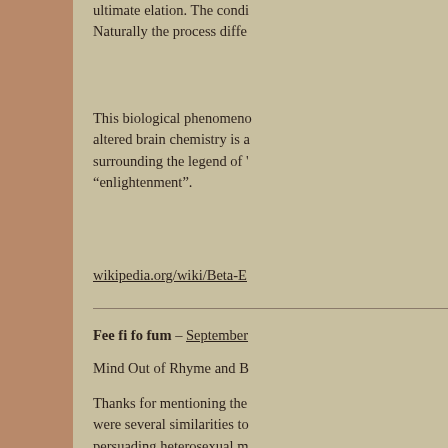ultimate elation. The condi... Naturally the process diffe...
This biological phenomeno... altered brain chemistry is a... surrounding the legend of '... "enlightenment".
wikipedia.org/wiki/Beta-E...
Fee fi fo fum – September...
Mind Out of Rhyme and B...
Thanks for mentioning the... were several similarities to... persuading heterosexual m... was the carrying of his larg... having one of the young m... REB can't carry his own cu... as the disciple/student/men... twisted.